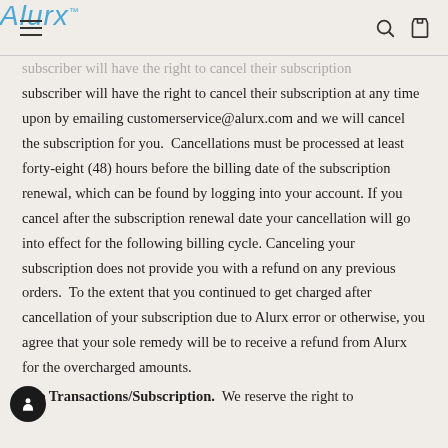Alurx
subscriber will have the right to cancel their subscription at any time upon by emailing customerservice@alurx.com and we will cancel the subscription for you.  Cancellations must be processed at least forty-eight (48) hours before the billing date of the subscription renewal, which can be found by logging into your account. If you cancel after the subscription renewal date your cancellation will go into effect for the following billing cycle. Canceling your subscription does not provide you with a refund on any previous orders.  To the extent that you continued to get charged after cancellation of your subscription due to Alurx error or otherwise, you agree that your sole remedy will be to receive a refund from Alurx for the overcharged amounts.
Site Transactions/Subscription.  We reserve the right to